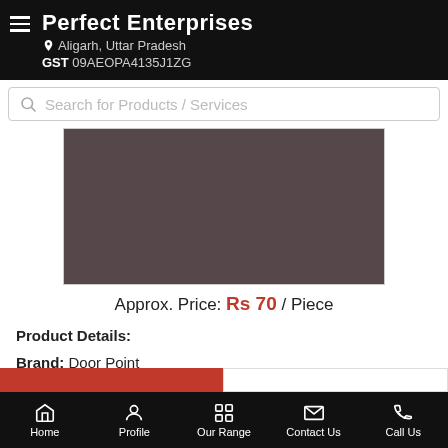Perfect Enterprises — Aligarh, Uttar Pradesh — GST 09AEOPA4135J1ZG
Search for Products / Services
[Figure (photo): Product image placeholder — dark brownish-grey rectangle representing a door lock product]
Approx. Price: Rs 70 / Piece
Product Details:
Brand: Door Point
Finish Type: Chrome
Lock Type: ...more
Home | Profile | Our Range | Contact Us | Call Us